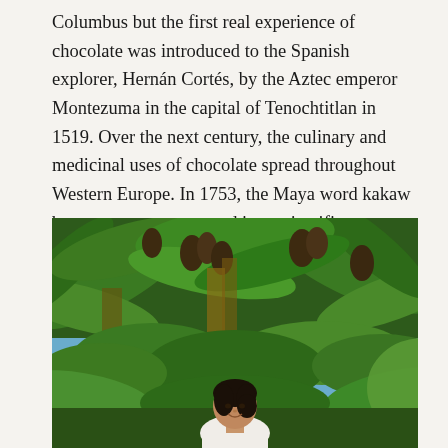Columbus but the first real experience of chocolate was introduced to the Spanish explorer, Hernán Cortés, by the Aztec emperor Montezuma in the capital of Tenochtitlan in 1519. Over the next century, the culinary and medicinal uses of chocolate spread throughout Western Europe. In 1753, the Maya word kakaw became cacao as entered into scientific nomenclature by Carl Linnaeus for Theobroma cacao, Food of the Gods.
[Figure (photo): A woman standing outdoors surrounded by lush tropical vegetation including large banana-like leaves and cacao trees, smiling at the camera. The background shows dense green foliage with patches of blue sky visible.]